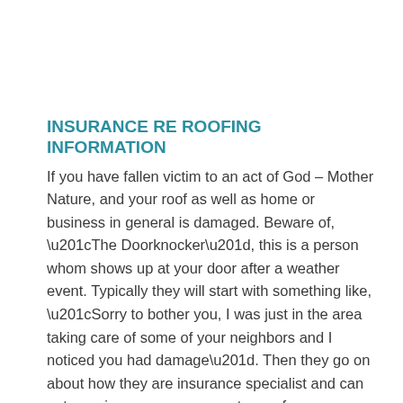INSURANCE RE ROOFING INFORMATION
If you have fallen victim to an act of God – Mother Nature, and your roof as well as home or business in general is damaged. Beware of, “The Doorknocker”, this is a person whom shows up at your door after a weather event. Typically they will start with something like, “Sorry to bother you, I was just in the area taking care of some of your neighbors and I noticed you had damage”. Then they go on about how they are insurance specialist and can get your insurance company to pay for your damages and that they would be willing to conduct a free inspection so they can check for damages, etcetera.
In the world of contracting there are basically two